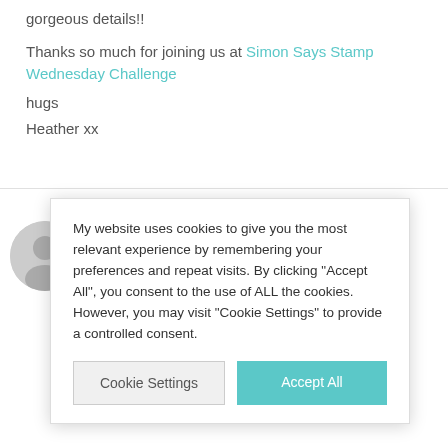gorgeous details!! Thanks so much for joining us at Simon Says Stamp Wednesday Challenge hugs Heather xx
[Figure (photo): User avatar — grey silhouette of a person on light grey circle background]
AN... 14.S... Ver... aut... go... sha...
My website uses cookies to give you the most relevant experience by remembering your preferences and repeat visits. By clicking "Accept All", you consent to the use of ALL the cookies. However, you may visit "Cookie Settings" to provide a controlled consent.